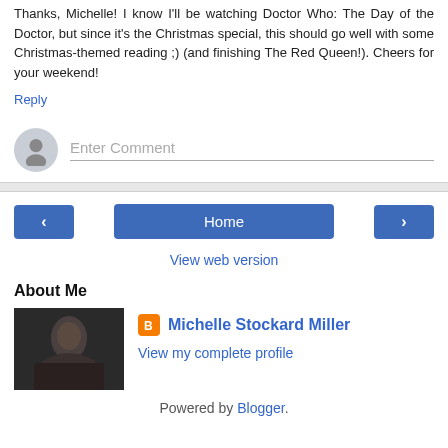Thanks, Michelle! I know I'll be watching Doctor Who: The Day of the Doctor, but since it's the Christmas special, this should go well with some Christmas-themed reading ;) (and finishing The Red Queen!). Cheers for your weekend!
Reply
Enter Comment
Home
View web version
About Me
Michelle Stockard Miller
View my complete profile
Powered by Blogger.